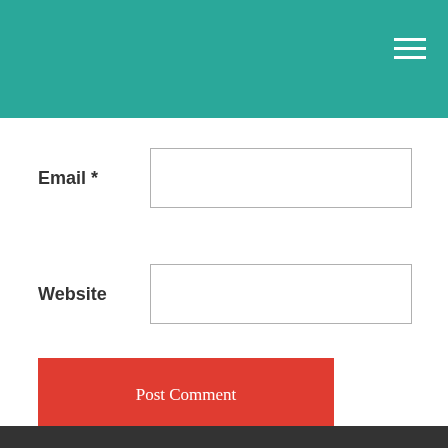Email *
Website
Post Comment
[Figure (screenshot): Empty sidebar/widget box with light border]
[Figure (other): Orange back-to-top button with upward chevron arrow]